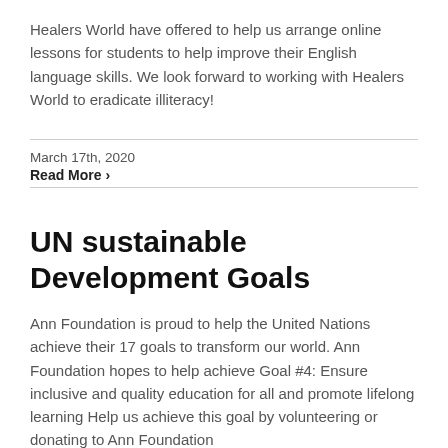Healers World have offered to help us arrange online lessons for students to help improve their English language skills. We look forward to working with Healers World to eradicate illiteracy!
March 17th, 2020
Read More ›
UN sustainable Development Goals
Ann Foundation is proud to help the United Nations achieve their 17 goals to transform our world. Ann Foundation hopes to help achieve Goal #4: Ensure inclusive and quality education for all and promote lifelong learning Help us achieve this goal by volunteering or donating to Ann Foundation